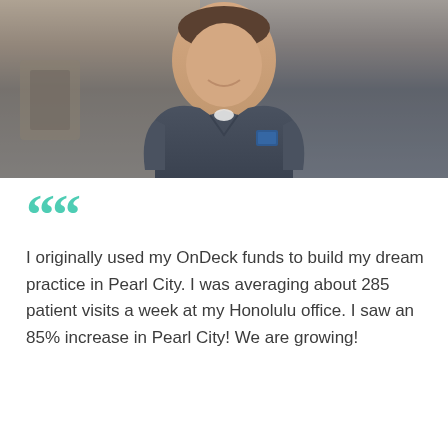[Figure (photo): A smiling male doctor or medical professional wearing dark navy/charcoal scrubs with a small OnDeck logo badge on the chest, standing in a medical office setting. The background shows medical equipment and another person seated.]
““ I originally used my OnDeck funds to build my dream practice in Pearl City. I was averaging about 285 patient visits a week at my Honolulu office. I saw an 85% increase in Pearl City! We are growing!